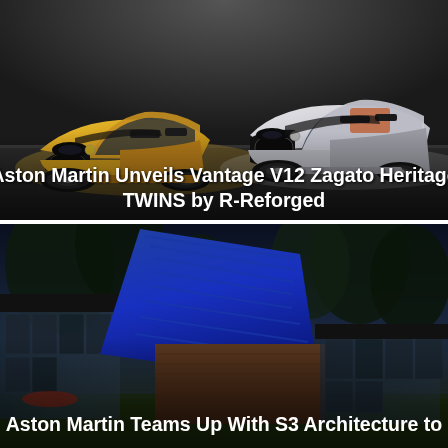[Figure (photo): Two Aston Martin Vantage V12 Zagato Heritage TWINS cars side by side — a gold/yellow one on the left and a silver/white one on the right — photographed from the front in a garage-like setting]
Aston Martin Unveils Vantage V12 Zagato Heritage TWINS by R-Reforged
[Figure (photo): A modern architectural home with angular dark metal roofing panels, wood cladding, and large glass walls, photographed at dusk with trees in the background — an Aston Martin collaboration with S3 Architecture]
Aston Martin Teams Up With S3 Architecture to